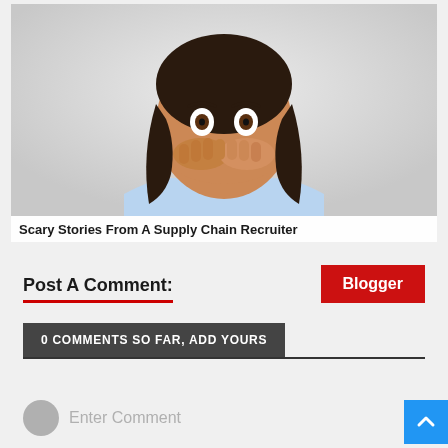[Figure (photo): A woman with dark hair covering her mouth with both hands, looking shocked/surprised, wearing a light blue shirt, against a light gray background.]
Scary Stories From A Supply Chain Recruiter
Post A Comment:
0 COMMENTS SO FAR, ADD YOURS
Enter Comment